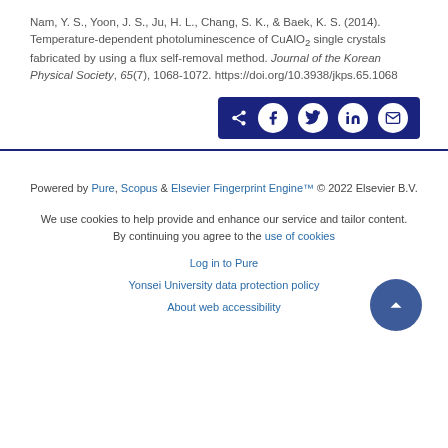Nam, Y. S., Yoon, J. S., Ju, H. L., Chang, S. K., & Baek, K. S. (2014). Temperature-dependent photoluminescence of CuAlO2 single crystals fabricated by using a flux self-removal method. Journal of the Korean Physical Society, 65(7), 1068-1072. https://doi.org/10.3938/jkps.65.1068
[Figure (other): Social share buttons bar with icons for share, Facebook, Twitter, LinkedIn, and email on a dark blue background]
Powered by Pure, Scopus & Elsevier Fingerprint Engine™ © 2022 Elsevier B.V.
We use cookies to help provide and enhance our service and tailor content. By continuing you agree to the use of cookies
Log in to Pure
Yonsei University data protection policy
About web accessibility